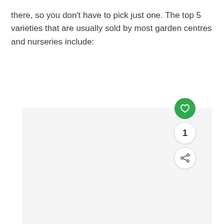there, so you don't have to pick just one. The top 5 varieties that are usually sold by most garden centres and nurseries include:
[Figure (photo): A light grey placeholder image area with three navigation dots at the bottom center, and social interaction buttons (heart/like, count showing 1, share) on the right side.]